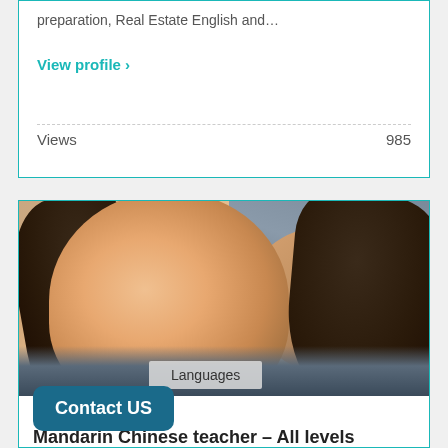preparation, Real Estate English and…
View profile >
Views   985
[Figure (photo): Profile photo of a young Asian woman with dark hair, smiling, sitting in a car, arm raised]
Languages
Contact US
Mandarin Chinese teacher – All levels